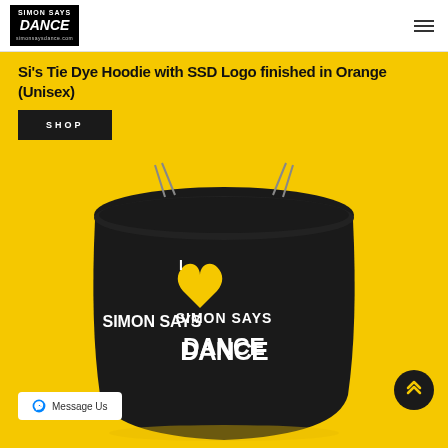[Figure (logo): Simon Says Dance logo in black and white with URL simonsaysdance.com]
Si's Tie Dye Hoodie with SSD Logo finished in Orange (Unisex)
SHOP
[Figure (photo): Black drawstring bag with 'I Love SIMON SAYS DANCE' graphic on yellow background]
Message Us